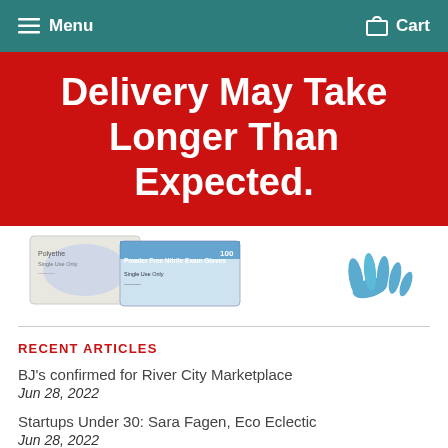Menu  Cart
Delivery May Take Longer Than Expected.
[Figure (photo): Product photo showing boxes of polyethylene and powder free nitrile exam gloves with a blue gloved hand]
RECENT ARTICLES
BJ’s confirmed for River City Marketplace
Jun 28, 2022
Startups Under 30: Sara Fagen, Eco Eclectic
Jun 28, 2022